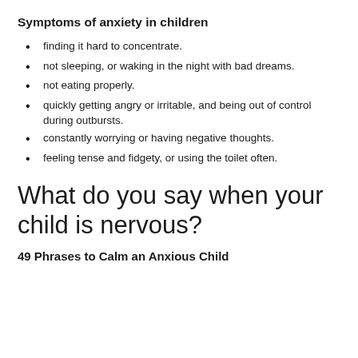Symptoms of anxiety in children
finding it hard to concentrate.
not sleeping, or waking in the night with bad dreams.
not eating properly.
quickly getting angry or irritable, and being out of control during outbursts.
constantly worrying or having negative thoughts.
feeling tense and fidgety, or using the toilet often.
What do you say when your child is nervous?
49 Phrases to Calm an Anxious Child